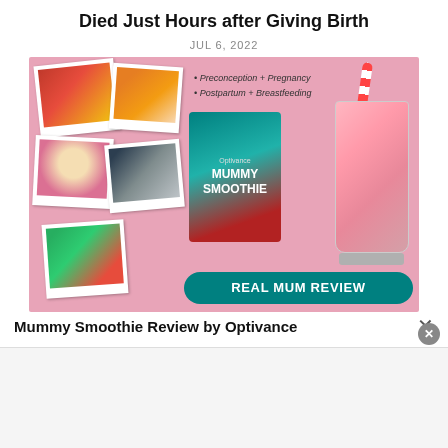Died Just Hours after Giving Birth
JUL 6, 2022
[Figure (photo): Advertisement image for Optivance Mummy Smoothie product. Pink background with polaroid-style photos of mothers and babies on the left side, a product box and a jar of pink smoothie with a striped straw on the right side. Bullet points reading 'Preconception + Pregnancy, Postpartum + Breastfeeding'. A teal banner at the bottom reads 'REAL MUM REVIEW'.]
Mummy Smoothie Review by Optivance